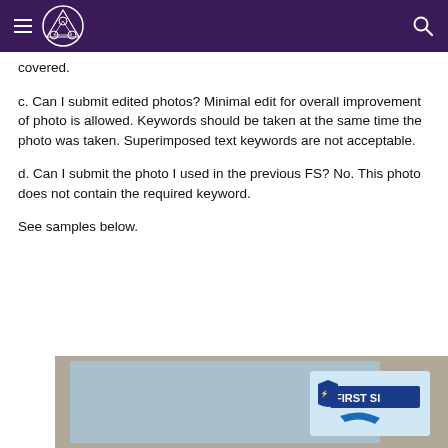Navigation header with menu icon, logo, and search icon
covered.
c. Can I submit edited photos? Minimal edit for overall improvement of photo is allowed. Keywords should be taken at the same time the photo was taken. Superimposed text keywords are not acceptable.
d. Can I submit the photo I used in the previous FS? No. This photo does not contain the required keyword.
See samples below.
[Figure (photo): A partial photograph showing what appears to be a screen or document with 'FIRST S' text visible and a blue logo/graphic element, cropped at the bottom of the page.]